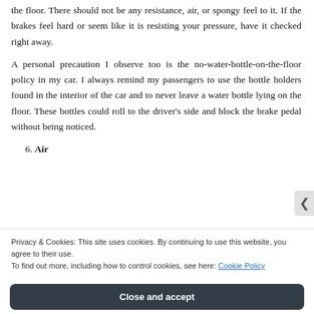the floor.  There should not be any resistance, air, or spongy feel to it.  If the brakes feel hard or seem like it is resisting your pressure, have it checked right away.
A personal precaution I observe too  is the no-water-bottle-on-the-floor policy in my car.  I always remind my passengers to use the bottle holders found in the interior of the car and to never leave a water bottle lying on the floor.  These bottles could roll to the driver's side and block the brake pedal without being noticed.
6.  Air
Privacy & Cookies: This site uses cookies. By continuing to use this website, you agree to their use.
To find out more, including how to control cookies, see here: Cookie Policy
Close and accept